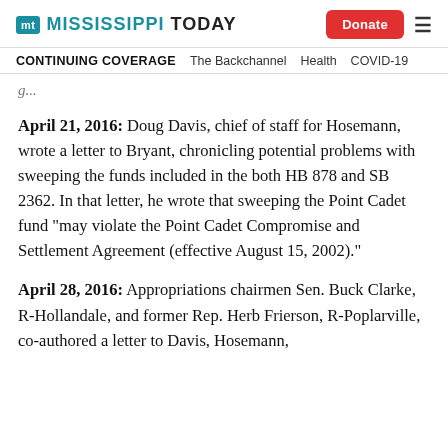Mississippi Today | Donate
CONTINUING COVERAGE  The Backchannel  Health  COVID-19
April 21, 2016: Doug Davis, chief of staff for Hosemann, wrote a letter to Bryant, chronicling potential problems with sweeping the funds included in the both HB 878 and SB 2362. In that letter, he wrote that sweeping the Point Cadet fund “may violate the Point Cadet Compromise and Settlement Agreement (effective August 15, 2002).”
April 28, 2016: Appropriations chairmen Sen. Buck Clarke, R-Hollandale, and former Rep. Herb Frierson, R-Poplarville, co-authored a letter to Davis, Hosemann,